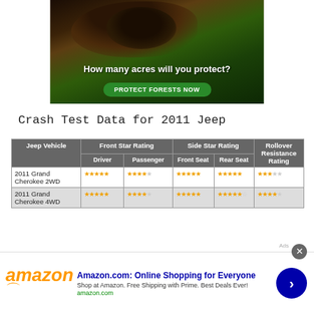[Figure (illustration): Wildlife conservation advertisement showing a dark animal (monkey/lemur) in green foliage with text 'How many acres will you protect?' and a green button 'PROTECT FORESTS NOW']
Crash Test Data for 2011 Jeep
| Jeep Vehicle | Front Star Rating - Driver | Front Star Rating - Passenger | Side Star Rating - Front Seat | Side Star Rating - Rear Seat | Rollover Resistance Rating |
| --- | --- | --- | --- | --- | --- |
| 2011 Grand Cherokee 2WD | ★★★★★ | ★★★★☆ | ★★★★★ | ★★★★★ | ★★★☆☆ |
| 2011 Grand Cherokee 4WD | ★★★★★ | ★★★★☆ | ★★★★★ | ★★★★★☆ | ★★★★☆ |
[Figure (illustration): Amazon.com advertisement: 'Amazon.com: Online Shopping for Everyone. Shop at Amazon. Free Shipping with Prime. Best Deals Ever! amazon.com' with Amazon logo and blue circular arrow button]